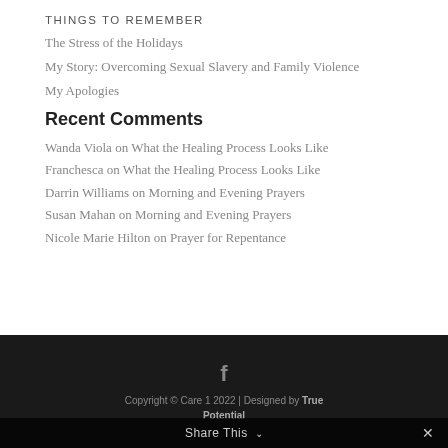THINGS TO REMEMBER
The Stress of the Holidays
My Story: Overcoming Sexual Slavery and Family Violence
My Apologies
Recent Comments
Wanda Viola on What the Healing Process Looks Like
Franchesca on What the Healing Process Looks Like
Darrin Williams on Morning and Evening Prayers
Susan Mahan on Morning and Evening Prayers
Nicole Marie Hilton on Prayer for Repentance
Copyright © Care 1 2022 | Designed by True Potential
Share This